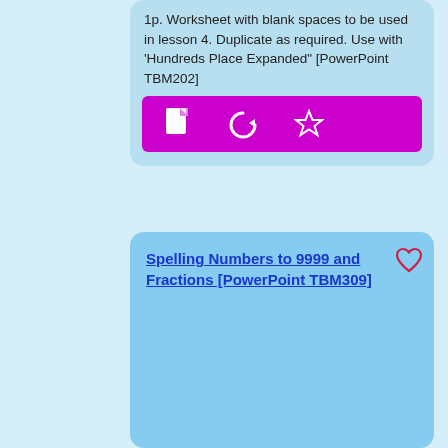1p. Worksheet with blank spaces to be used in lesson 4. Duplicate as required. Use with 'Hundreds Place Expanded' [PowerPoint TBM202]
[Figure (screenshot): Purple/magenta toolbar with three icons: document/file icon, circular arrow/refresh icon, and star icon, all in white on magenta background]
Spelling Numbers to 9999 and Fractions [PowerPoint TBM309]